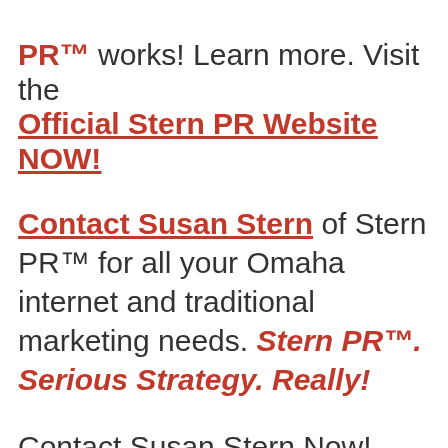PR™ works! Learn more. Visit the Official Stern PR Website NOW!
Contact Susan Stern of Stern PR™ for all your Omaha internet and traditional marketing needs. Stern PR™. Serious Strategy. Really!
Contact Susan Stern Now! 402-212-7489